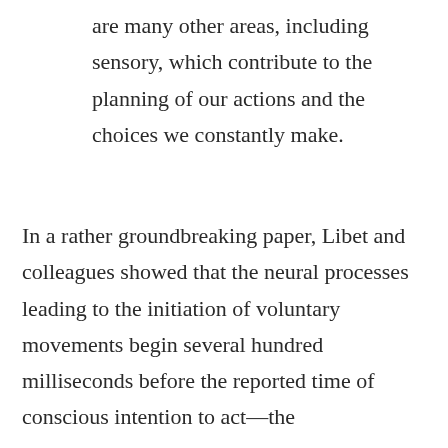are many other areas, including sensory, which contribute to the planning of our actions and the choices we constantly make.
In a rather groundbreaking paper, Libet and colleagues showed that the neural processes leading to the initiation of voluntary movements begin several hundred milliseconds before the reported time of conscious intention to act—the